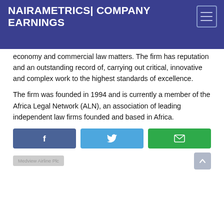NAIRAMETRICS| COMPANY EARNINGS
economy and commercial law matters. The firm has reputation and an outstanding record of, carrying out critical, innovative and complex work to the highest standards of excellence.
The firm was founded in 1994 and is currently a member of the Africa Legal Network (ALN), an association of leading independent law firms founded and based in Africa.
[Figure (infographic): Three social share buttons: Facebook (dark blue), Twitter (light blue), Email (green)]
Medview Airline Plc